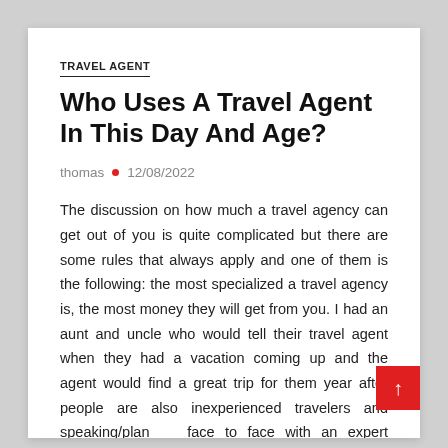TRAVEL AGENT
Who Uses A Travel Agent In This Day And Age?
thomas • 12/08/2022
The discussion on how much a travel agency can get out of you is quite complicated but there are some rules that always apply and one of them is the following: the most specialized a travel agency is, the most money they will get from you. I had an aunt and uncle who would tell their travel agent when they had a vacation coming up and the agent would find a great trip for them year after people are also inexperienced travelers and speaking/planning face to face with an expert would make them much less anxious.